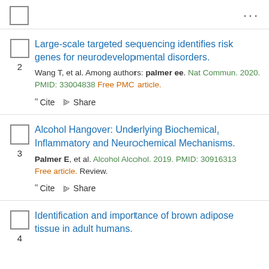2. Large-scale targeted sequencing identifies risk genes for neurodevelopmental disorders. Wang T, et al. Among authors: palmer ee. Nat Commun. 2020. PMID: 33004838 Free PMC article.
3. Alcohol Hangover: Underlying Biochemical, Inflammatory and Neurochemical Mechanisms. Palmer E, et al. Alcohol Alcohol. 2019. PMID: 30916313 Free article. Review.
4. Identification and importance of brown adipose tissue in adult humans.